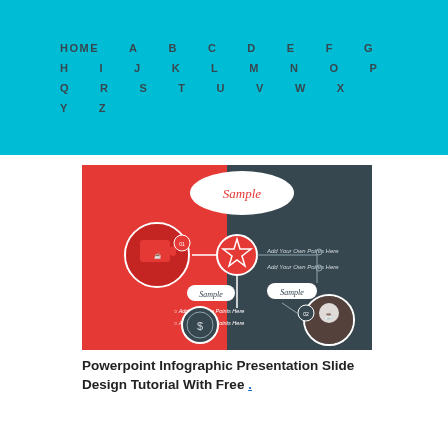HOME A B C D E F G H I J K L M N O P Q R S T U V W X Y Z
[Figure (infographic): Powerpoint infographic presentation slide showing red and dark grey split layout with coffee images, star icon, dollar icon, sample labels, and placeholder bullet points reading 'Add Your Own Points Here']
Powerpoint Infographic Presentation Slide Design Tutorial With Free .